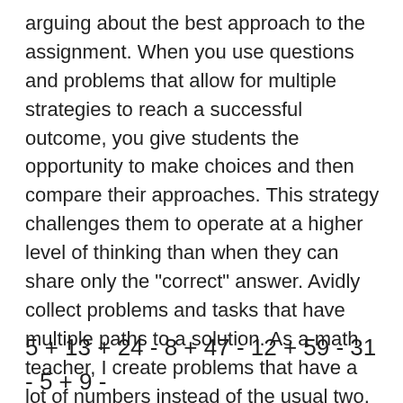arguing about the best approach to the assignment. When you use questions and problems that allow for multiple strategies to reach a successful outcome, you give students the opportunity to make choices and then compare their approaches. This strategy challenges them to operate at a higher level of thinking than when they can share only the "correct" answer. Avidly collect problems and tasks that have multiple paths to a solution. As a math teacher, I create problems that have a lot of numbers instead of the usual two. For example, I can present this problem: